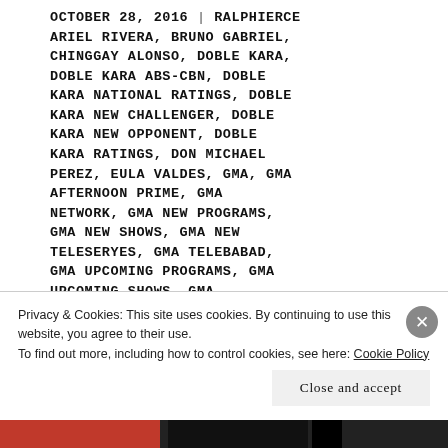OCTOBER 28, 2016 | RALPHIERCE ARIEL RIVERA, BRUNO GABRIEL, CHINGGAY ALONSO, DOBLE KARA, DOBLE KARA ABS-CBN, DOBLE KARA NATIONAL RATINGS, DOBLE KARA NEW CHALLENGER, DOBLE KARA NEW OPPONENT, DOBLE KARA RATINGS, DON MICHAEL PEREZ, EULA VALDES, GMA, GMA AFTERNOON PRIME, GMA NETWORK, GMA NEW PROGRAMS, GMA NEW SHOWS, GMA NEW TELESERYES, GMA TELEBABAD, GMA UPCOMING PROGRAMS, GMA UPCOMING SHOWS, GMA UPCOMING TELESERYES, HAHAMAKIN ANG LAHAT, HAHAMAKIN ANG LAHAT DEBUT
Privacy & Cookies: This site uses cookies. By continuing to use this website, you agree to their use.
To find out more, including how to control cookies, see here: Cookie Policy
Close and accept